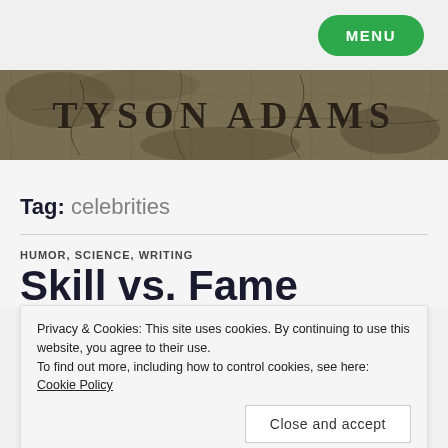MENU
[Figure (illustration): TYSON ADAMS website banner with weathered stone/cracked texture background and serif text logo]
Tag: celebrities
HUMOR, SCIENCE, WRITING
Skill vs. Fame
Privacy & Cookies: This site uses cookies. By continuing to use this website, you agree to their use.
To find out more, including how to control cookies, see here: Cookie Policy
Close and accept
[Figure (photo): Bottom portion of an article image showing a person, partially visible at the bottom of the page]